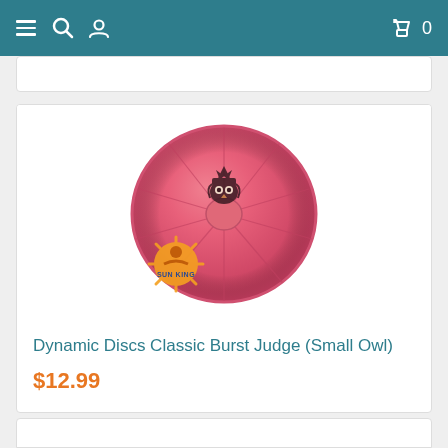Navigation bar with menu, search, user, cart icons and count 0
[Figure (photo): Pink/red Dynamic Discs Classic Burst Judge disc golf disc (Small Owl stamp) shown from top-down view, with Sun King logo watermark in lower left]
Dynamic Discs Classic Burst Judge (Small Owl)
$12.99